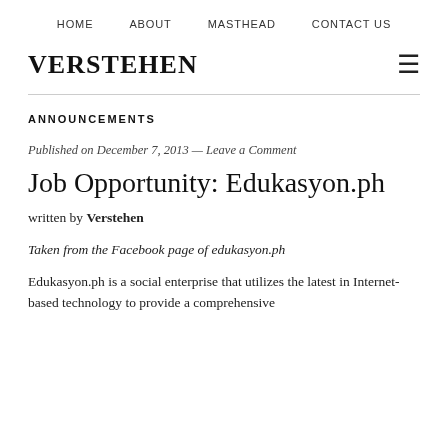HOME   ABOUT   MASTHEAD   CONTACT US
VERSTEHEN
ANNOUNCEMENTS
Published on December 7, 2013 — Leave a Comment
Job Opportunity: Edukasyon.ph
written by Verstehen
Taken from the Facebook page of edukasyon.ph
Edukasyon.ph is a social enterprise that utilizes the latest in Internet-based technology to provide a comprehensive